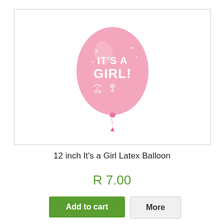[Figure (photo): A pink latex balloon printed with 'IT'S A GIRL!' text and baby-themed icons such as a stroller and a pacifier, with a pink ribbon at the bottom.]
12 inch It's a Girl Latex Balloon
R 7.00
Add to cart
More